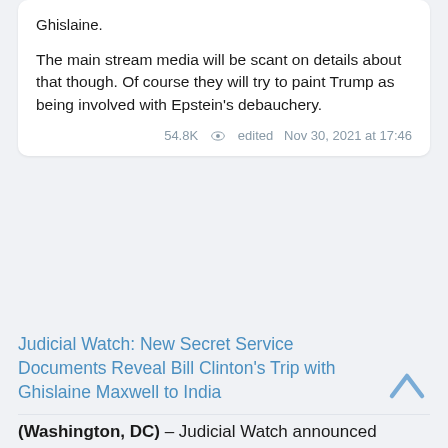The main stream media will be scant on details about that though. Of course they will try to paint Trump as being involved with Epstein's debauchery.
54.8K  edited  Nov 30, 2021 at 17:46
Judicial Watch: New Secret Service Documents Reveal Bill Clinton's Trip with Ghislaine Maxwell to India
(Washington, DC) – Judicial Watch announced